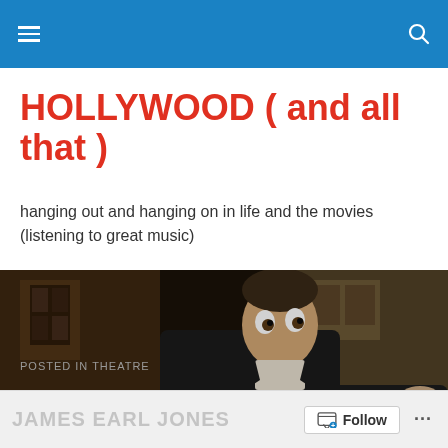HOLLYWOOD ( and all that )
hanging out and hanging on in life and the movies (listening to great music)
[Figure (photo): A man in a dark suit clinging to a metal rail or ledge, photographed from above at close range, appearing to be in a tense or dangerous situation. Film still in color.]
POSTED IN THEATRE
JAMES EARL JONES   Follow  ...